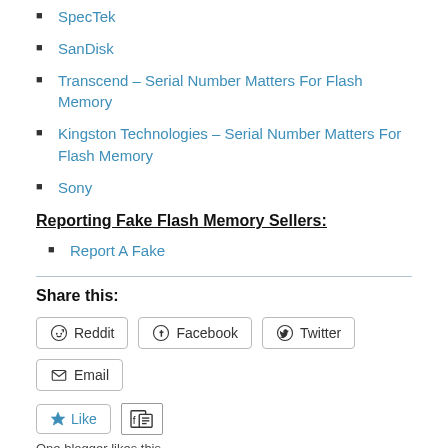SpecTek
SanDisk
Transcend – Serial Number Matters For Flash Memory
Kingston Technologies – Serial Number Matters For Flash Memory
Sony
Reporting Fake Flash Memory Sellers:
Report A Fake
Share this:
Reddit  Facebook  Twitter  Email
Like
One blogger likes this.